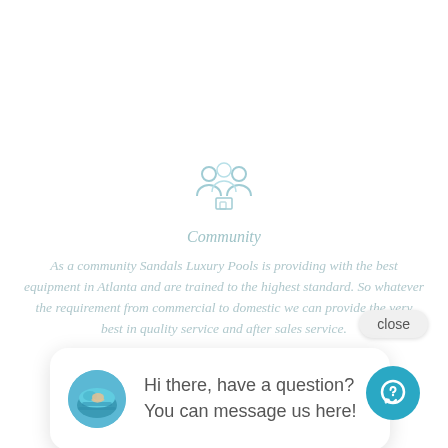[Figure (illustration): Faded teal icon of a group of people representing community]
Community
As a community Sandals Luxury Pools is providing with the best equipment in Atlanta and are trained to the highest standard. So whatever the requirement from commercial to domestic we can provide the very best in quality service and after sales service.
close
Hi there, have a question? You can message us here!
[Figure (illustration): Teal circular chat bubble icon button at bottom right]